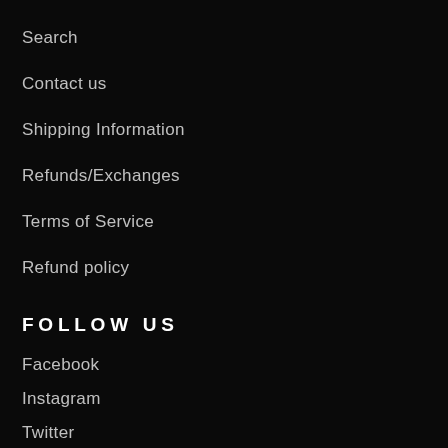Search
Contact us
Shipping Information
Refunds/Exchanges
Terms of Service
Refund policy
FOLLOW US
Facebook
Instagram
Twitter
BE IN THE KNOW
Promotions, new products and sales. Directly to your